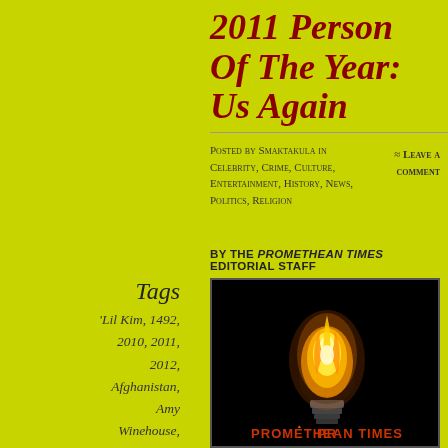2011 Person Of The Year: Us Again
Posted by Smaktakula in Celebrity, Crime, Culture, Entertainment, History, News, Politics, Religion
≈ Leave a comment
BY THE PROMETHEAN TIMES EDITORIAL STAFF
[Figure (illustration): A flaming lightbulb against a black background with the text PROMETHEAN TIMES below it]
Tags
'Lil Kim, 1492, 2010, 2011, 2012, Afghanistan, Amy Winehouse, Arab Spring, Armenian Genocide, Arnold